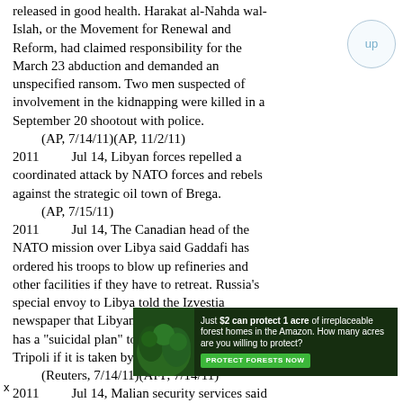released in good health. Harakat al-Nahda wal-Islah, or the Movement for Renewal and Reform, had claimed responsibility for the March 23 abduction and demanded an unspecified ransom. Two men suspected of involvement in the kidnapping were killed in a September 20 shootout with police.
(AP, 7/14/11)(AP, 11/2/11)
2011	Jul 14, Libyan forces repelled a coordinated attack by NATO forces and rebels against the strategic oil town of Brega.
(AP, 7/15/11)
2011	Jul 14, The Canadian head of the NATO mission over Libya said Gaddafi has ordered his troops to blow up refineries and other facilities if they have to retreat. Russia's special envoy to Libya told the Izvestia newspaper that Libyan leader Moamer Kadhafi has a "suicidal plan" to blow up the capital Tripoli if it is taken by rebels.
(Reuters, 7/14/11)(AFP, 7/14/11)
2011	Jul 14, Malian security services said they have arrested two men identified as
[Figure (infographic): Advertisement banner: dark green background with forest imagery. Text reads: 'Just $2 can protect 1 acre of irreplaceable forest homes in the Amazon. How many acres are you willing to protect?' with a green 'PROTECT FORESTS NOW' button.]